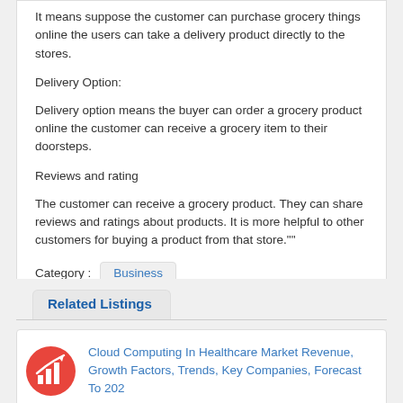It means suppose the customer can purchase grocery things online the users can take a delivery product directly to the stores.
Delivery Option:
Delivery option means the buyer can order a grocery product online the customer can receive a grocery item to their doorsteps.
Reviews and rating
The customer can receive a grocery product. They can share reviews and ratings about products. It is more helpful to other customers for buying a product from that store.""
Category :   Business
Related Listings
Cloud Computing In Healthcare Market Revenue, Growth Factors, Trends, Key Companies, Forecast To 202